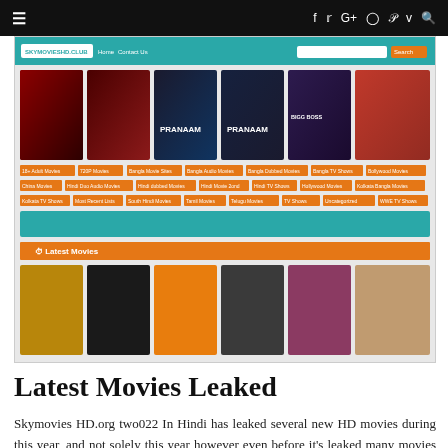☰  f  t  G+  (instagram)  p  v  (search)
[Figure (screenshot): Screenshot of skymoviesHD.club website showing movie posters, navigation menu with category tags in orange, a teal banner, a Latest Movies orange bar, and a bottom row of movie thumbnails]
Latest Movies Leaked
Skymovies HD.org two022 In Hindi has leaked several new HD movies during this year, and not solely this year however even before it's leaked many movies on-line on its web site. The names of the most recent movies 2022